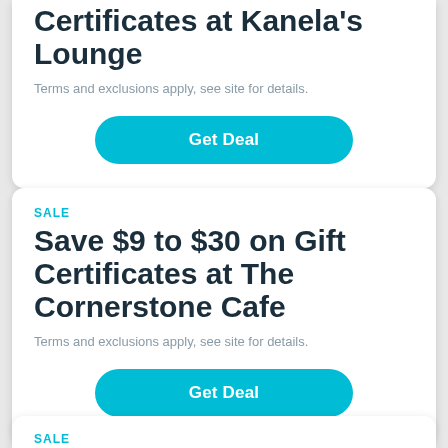Save $5 to $30 on Gift Certificates at Kanela's Lounge
Terms and exclusions apply, see site for details.
Get Deal
SALE
Save $9 to $30 on Gift Certificates at The Cornerstone Cafe
Terms and exclusions apply, see site for details.
Get Deal
SALE